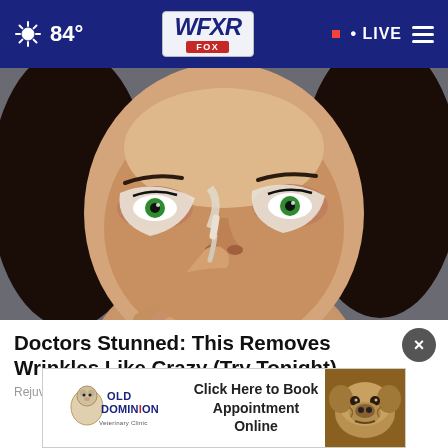84° WFXR FOX • LIVE
[Figure (photo): Close-up photo of a woman with green eyes applying white face cream/concealer under her eyes with a brush, looking directly at the camera. Dark hair, cream patches visible under both eyes.]
Doctors Stunned: This Removes Wrinkles Like Crazy (Try Tonight)
Rejuvalift
[Figure (photo): Advertisement banner for Old Dominion Veterinary Clinic featuring a bulldog photo on the right and the clinic logo on the left, with text 'Click Here to Book Appointment Online' in the center.]